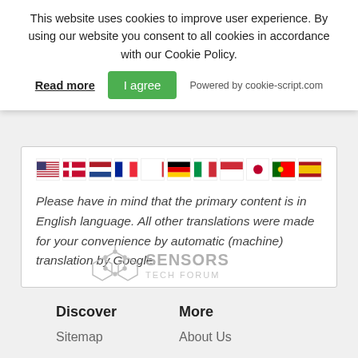This website uses cookies to improve user experience. By using our website you consent to all cookies in accordance with our Cookie Policy.
Read more
I agree
Powered by cookie-script.com
[Figure (illustration): Row of country flags: USA, Denmark, Netherlands, France, Italy, Germany, Italy, (unknown), Japan, Portugal, Spain]
Please have in mind that the primary content is in English language. All other translations were made for your convenience by automatic (machine) translation by Google.
[Figure (logo): Sensors Tech Forum logo - grey hexagonal network icon with text SENSORS TECH FORUM]
Discover
More
Sitemap
About Us